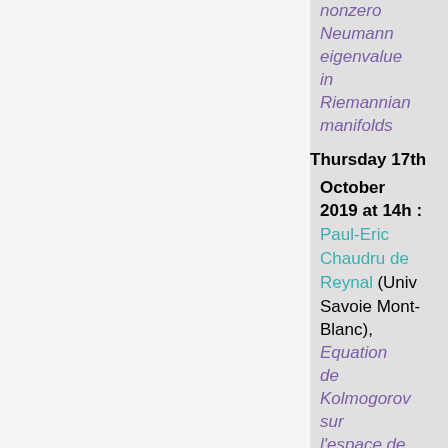nonzero Neumann eigenvalue in Riemannian manifolds
Thursday 17th
October
2019 at 14h :
Paul-Eric Chaudru de Reynal (Univ Savoie Mont-Blanc),
Equation de Kolmogorov sur l'espace de